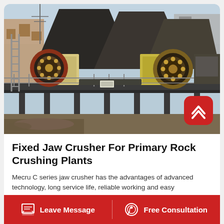[Figure (photo): Outdoor industrial photograph of a fixed jaw crusher plant installation. Two large jaw crushers with circular flywheels mounted on an elevated steel platform. Large dark pyramid-shaped hoppers/chutes behind. Industrial buildings visible in background. Clear sky. Construction/mining site setting.]
Fixed Jaw Crusher For Primary Rock Crushing Plants
Mecru C series jaw crusher has the advantages of advanced technology, long service life, reliable working and easy...
Leave Message   Free Consultation